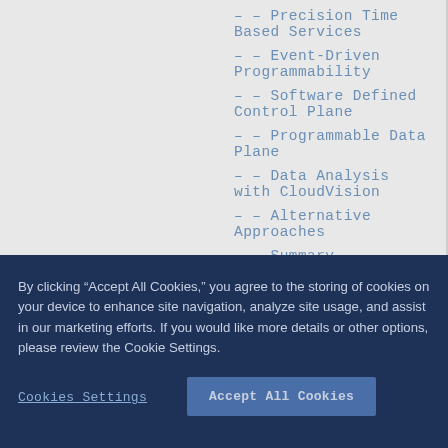– Precision Time Based Services
– Event-Driven Programmability
– Software Defined Control Plane
– Programmable Data Plane
– Data Analysis with CloudVision
– Alternative Approaches
– Summary
By clicking “Accept All Cookies,” you agree to the storing of cookies on your device to enhance site navigation, analyze site usage, and assist in our marketing efforts. If you would like more details or other options, please review the Cookie Settings.
Cookies Settings
Accept All Cookies